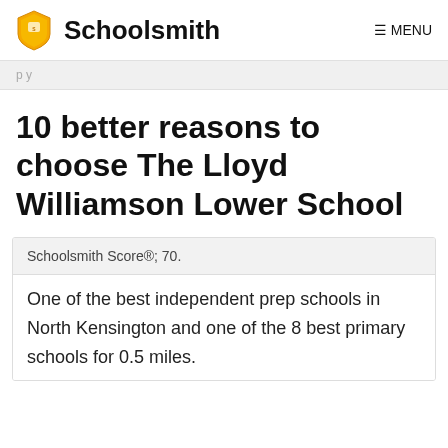Schoolsmith  ≡ MENU
10 better reasons to choose The Lloyd Williamson Lower School
Schoolsmith Score®; 70.
One of the best independent prep schools in North Kensington and one of the 8 best primary schools for 0.5 miles.